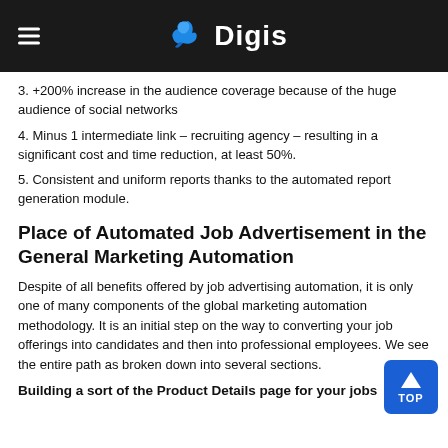Digis
3. +200% increase in the audience coverage because of the huge audience of social networks
4. Minus 1 intermediate link – recruiting agency – resulting in a significant cost and time reduction, at least 50%.
5. Consistent and uniform reports thanks to the automated report generation module.
Place of Automated Job Advertisement in the General Marketing Automation
Despite of all benefits offered by job advertising automation, it is only one of many components of the global marketing automation methodology. It is an initial step on the way to converting your job offerings into candidates and then into professional employees. We see the entire path as broken down into several sections.
Building a sort of the Product Details page for your jobs